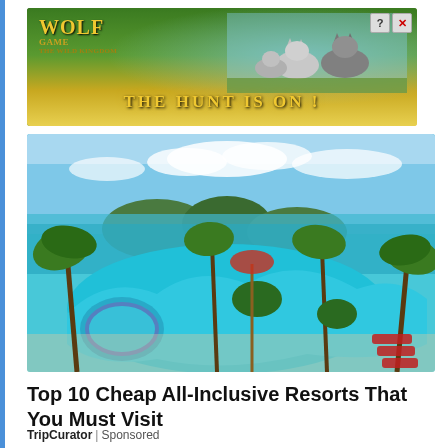[Figure (screenshot): Wolf Game advertisement banner with wolves and text 'THE HUNT IS ON!']
[Figure (photo): Aerial view of a tropical resort with a large curved swimming pool, palm trees, turquoise water, and island mountains in the background.]
Top 10 Cheap All-Inclusive Resorts That You Must Visit
TripCurator | Sponsored